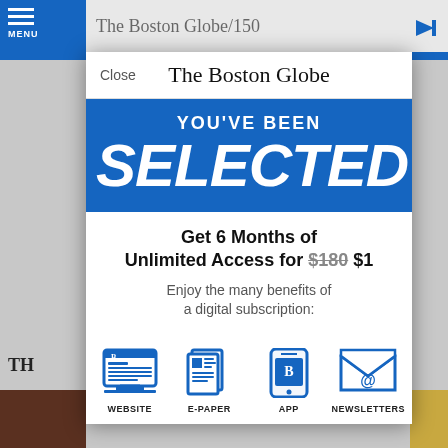[Figure (screenshot): Boston Globe website screenshot showing a subscription modal overlay. The modal has the Boston Globe masthead logo, a blue band with 'YOU'VE BEEN SELECTED' text, and an offer for '6 Months of Unlimited Access for $180 $1' with icons for Website, E-Paper, App, and Newsletters.]
The Boston Globe
YOU'VE BEEN
SELECTED
Get 6 Months of Unlimited Access for $180 $1
Enjoy the many benefits of a digital subscription:
WEBSITE
E-PAPER
APP
NEWSLETTERS